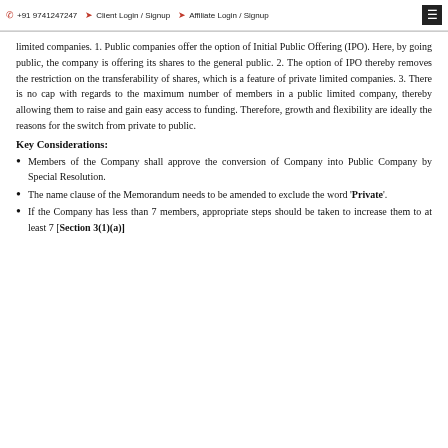+91 9741247247   Client Login / Signup   Affiliate Login / Signup
limited companies. 1. Public companies offer the option of Initial Public Offering (IPO). Here, by going public, the company is offering its shares to the general public. 2. The option of IPO thereby removes the restriction on the transferability of shares, which is a feature of private limited companies. 3. There is no cap with regards to the maximum number of members in a public limited company, thereby allowing them to raise and gain easy access to funding. Therefore, growth and flexibility are ideally the reasons for the switch from private to public.
Key Considerations:
Members of the Company shall approve the conversion of Company into Public Company by Special Resolution.
The name clause of the Memorandum needs to be amended to exclude the word 'Private'.
If the Company has less than 7 members, appropriate steps should be taken to increase them to at least 7 [Section 3(1)(a)]